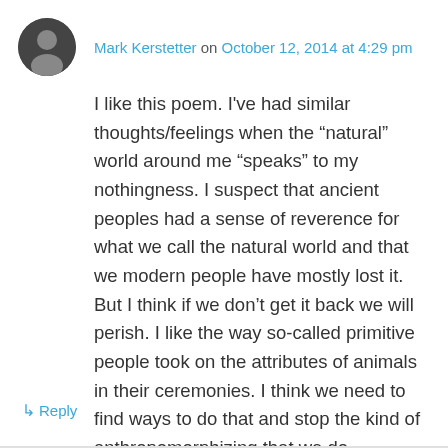[Figure (photo): Circular avatar photo of Mark Kerstetter, showing a person in dark tones]
Mark Kerstetter on October 12, 2014 at 4:29 pm
I like this poem. I've had similar thoughts/feelings when the “natural” world around me “speaks” to my nothingness. I suspect that ancient peoples had a sense of reverence for what we call the natural world and that we modern people have mostly lost it. But I think if we don’t get it back we will perish. I like the way so-called primitive people took on the attributes of animals in their ceremonies. I think we need to find ways to do that and stop the kind of anthropomorphizing that we do.
↳ Reply